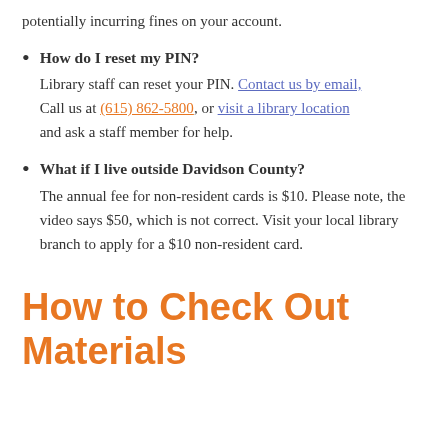potentially incurring fines on your account.
How do I reset my PIN?
Library staff can reset your PIN. Contact us by email, Call us at (615) 862-5800, or visit a library location and ask a staff member for help.
What if I live outside Davidson County?
The annual fee for non-resident cards is $10. Please note, the video says $50, which is not correct. Visit your local library branch to apply for a $10 non-resident card.
How to Check Out Materials